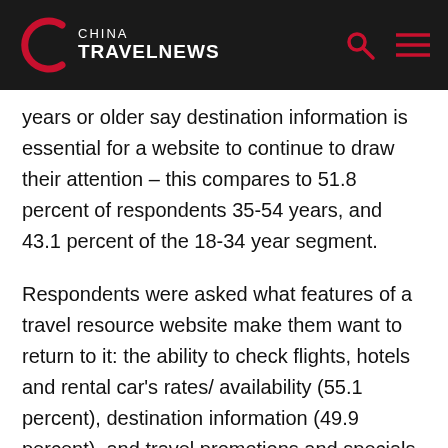China TravelNews
years or older say destination information is essential for a website to continue to draw their attention – this compares to 51.8 percent of respondents 35-54 years, and 43.1 percent of the 18-34 year segment.
Respondents were asked what features of a travel resource website make them want to return to it: the ability to check flights, hotels and rental car's rates/ availability (55.1 percent), destination information (49.9 percent), and travel promotions and specials (49.7 percent) were most often cited.